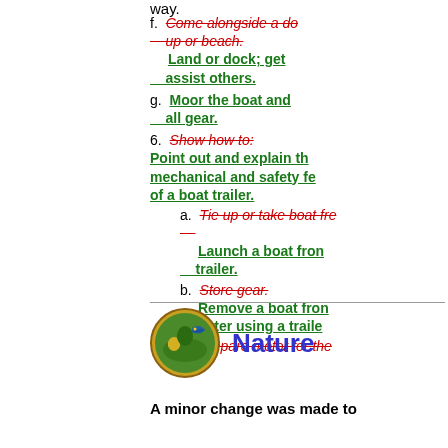way.
f. Come alongside a dock; tie up or beach. / Land or dock; get out and assist others.
g. Moor the boat and stow all gear.
6. Show how to: / Point out and explain the mechanical and safety features of a boat trailer.
a. Tie up or take boat from trailer. / Launch a boat from a trailer.
b. Store gear. / Remove a boat from the water using a trailer.
c. Prepare motor for the...
[Figure (illustration): Nature merit badge circular emblem with nature scene]
Nature
A minor change was made to